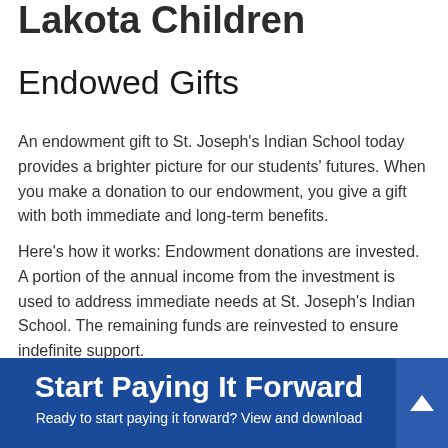Lakota Children
Endowed Gifts
An endowment gift to St. Joseph's Indian School today provides a brighter picture for our students' futures. When you make a donation to our endowment, you give a gift with both immediate and long-term benefits.
Here's how it works: Endowment donations are invested. A portion of the annual income from the investment is used to address immediate needs at St. Joseph's Indian School. The remaining funds are reinvested to ensure indefinite support.
Start Paying It Forward
Ready to start paying it forward? View and download